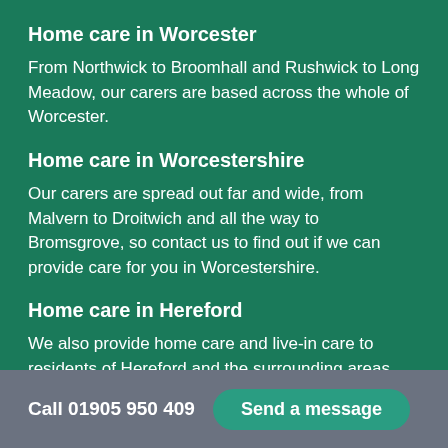Home care in Worcester
From Northwick to Broomhall and Rushwick to Long Meadow, our carers are based across the whole of Worcester.
Home care in Worcestershire
Our carers are spread out far and wide, from Malvern to Droitwich and all the way to Bromsgrove, so contact us to find out if we can provide care for you in Worcestershire.
Home care in Hereford
We also provide home care and live-in care to residents of Hereford and the surrounding areas.
Call 01905 950409   Send a message